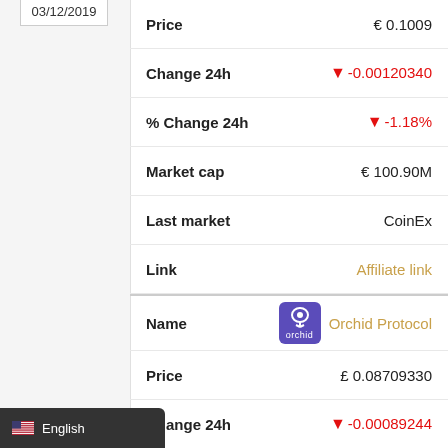03/12/2019
| Label | Value |
| --- | --- |
| Price | € 0.1009 |
| Change 24h | ▼ -0.00120340 |
| % Change 24h | ▼ -1.18% |
| Market cap | € 100.90M |
| Last market | CoinEx |
| Link | Affiliate link |
| Name | Orchid Protocol |
| Price | £ 0.08709330 |
| Change 24h | ▼ -0.00089244 |
| % Change 24h | ▼ -1.01% |
| Market cap | £ 87.09M |
English